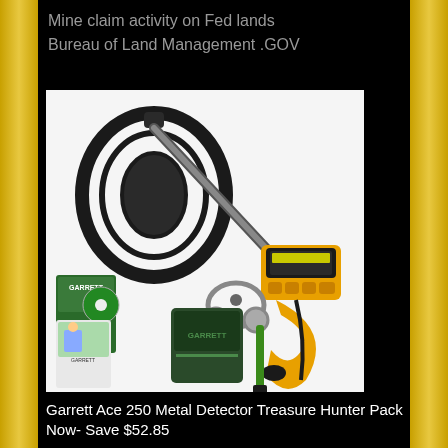Mine claim activity on Fed lands
Bureau of Land Management .GOV
[Figure (photo): Garrett Ace 250 Metal Detector Treasure Hunter Pack product photo showing the metal detector unit with yellow and black coil, control box, headphones, carrying bag, instructional DVDs/manuals, and a green digging tool arranged together on a white background.]
Garrett Ace 250 Metal Detector Treasure Hunter Pack Now- Save $52.85